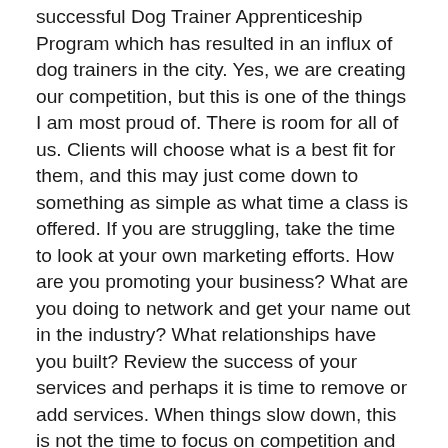successful Dog Trainer Apprenticeship Program which has resulted in an influx of dog trainers in the city. Yes, we are creating our competition, but this is one of the things I am most proud of. There is room for all of us. Clients will choose what is a best fit for them, and this may just come down to something as simple as what time a class is offered. If you are struggling, take the time to look at your own marketing efforts. How are you promoting your business? What are you doing to network and get your name out in the industry? What relationships have you built? Review the success of your services and perhaps it is time to remove or add services. When things slow down, this is not the time to focus on competition and place blame elsewhere. You must listen to this feedback and make changes. You drive the direction of your business, not your competition.